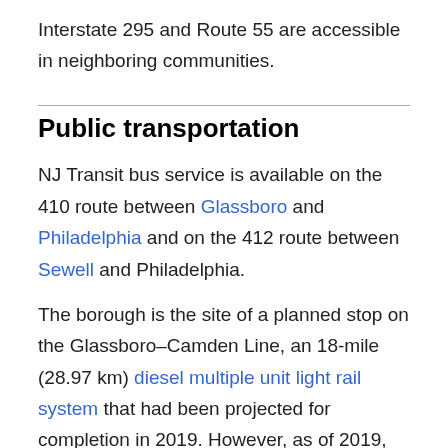Interstate 295 and Route 55 are accessible in neighboring communities.
Public transportation
NJ Transit bus service is available on the 410 route between Glassboro and Philadelphia and on the 412 route between Sewell and Philadelphia.
The borough is the site of a planned stop on the Glassboro–Camden Line, an 18-mile (28.97 km) diesel multiple unit light rail system that had been projected for completion in 2019. However, as of 2019, completion is not expected until 2025.Completion is expected for 2025.
Education